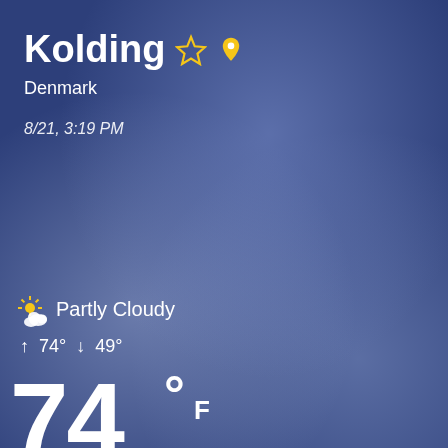Kolding
Denmark
8/21, 3:19 PM
[Figure (illustration): Partly cloudy weather condition icon — sun partially behind cloud]
Partly Cloudy
↑  74°  ↓  49°
74°F